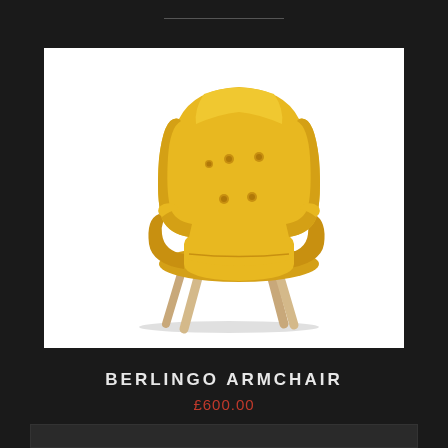[Figure (photo): A yellow mid-century modern armchair (Berlingo Armchair) with button tufting on the backrest and natural wood legs, photographed against a white background.]
BERLINGO ARMCHAIR
£600.00